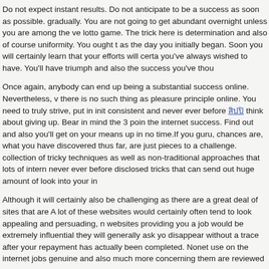Do not expect instant results. Do not anticipate to be a success as soon as possible. gradually. You are not going to get abundant overnight unless you are among the ve lotto game. The trick here is determination and also of course uniformity. You ought t as the day you initially began. Soon you will certainly learn that your efforts will certa you've always wished to have. You'll have triumph and also the success you've thou
Once again, anybody can end up being a substantial success online. Nevertheless, v there is no such thing as pleasure principle online. You need to truly strive, put in init consistent and never ever before สิปปิ think about giving up. Bear in mind the 3 poin the internet success. Find out and also you'll get on your means up in no time.If you guru, chances are, what you have discovered thus far, are just pieces to a challenge. collection of tricky techniques as well as non-traditional approaches that lots of intern never ever before disclosed tricks that can send out huge amount of look into your in
Although it will certainly also be challenging as there are a great deal of sites that are A lot of these websites would certainly often tend to look appealing and persuading, n websites providing you a job would be extremely influential they will generally ask yo disappear without a trace after your repayment has actually been completed. Nonet use on the internet jobs genuine and also much more concerning them are reviewed
There are on-line tutorial tasks for qualified individuals holding proper and authentic a from universities and also Colleges offering online education and learning to trainee have online schedule, individuals with mentor certifications can use and also do tutor